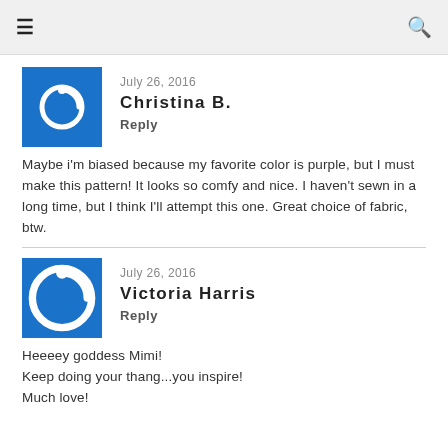≡  🔍
July 26, 2016
Christina B.
Reply
Maybe i'm biased because my favorite color is purple, but I must make this pattern! It looks so comfy and nice. I haven't sewn in a long time, but I think I'll attempt this one. Great choice of fabric, btw.
July 26, 2016
Victoria Harris
Reply
Heeeey goddess Mimi!
Keep doing your thang...you inspire!
Much love!